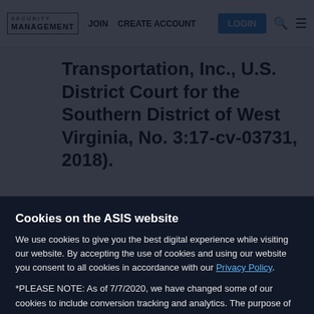SECURITY MANAGEMENT | JOIN | CREATE ACCOUNT | LOGIN
Transportation, Inc., U.S. District Court for the Southern District of West Virginia, No. 3:17-cv-03731, 2018).
Cookies on the ASIS website
We use cookies to give you the best digital experience while visiting our website. By accepting the use of cookies and using our website you consent to all cookies in accordance with our Privacy Policy.
*PLEASE NOTE: As of 7/7/2020, we have changed some of our cookies to include conversion tracking and analytics. The purpose of these cookies is the analysis of the use of these websites for statistical evaluation and for the continuous improvement of our offers and communication. Please see our Privacy Policy for more information.
Privacy Settings | Accept Cookies